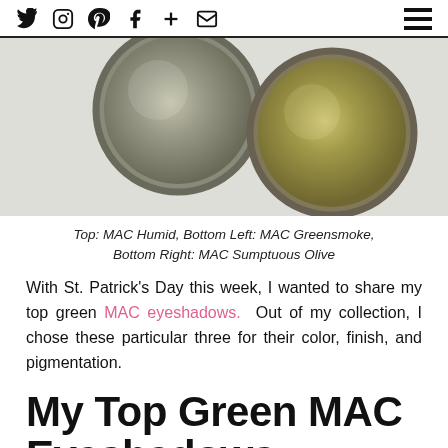Social icons: Twitter, Instagram, Pinterest, Facebook, Plus, Email; Hamburger menu
[Figure (photo): Two circular MAC eyeshadow pans on a white background. Left pan appears silver/grey metallic (Greensmoke), right pan appears golden/olive metallic (Sumptuous Olive).]
Top: MAC Humid, Bottom Left: MAC Greensmoke, Bottom Right: MAC Sumptuous Olive
With St. Patrick’s Day this week, I wanted to share my top green MAC eyeshadows. Out of my collection, I chose these particular three for their color, finish, and pigmentation.
My Top Green MAC Eyeshadows